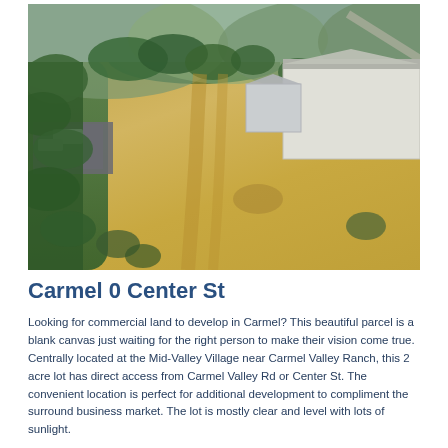[Figure (photo): Aerial drone photograph of a vacant 2-acre commercial land parcel in Carmel Valley. The lot shows dry golden-brown grass field with tire tracks/paths. Surrounding features include a white commercial building to the right, trees and vegetation on the left and upper portions, a parking area with vehicles upper-left, residential structures and hills/mountains in the background.]
Carmel 0 Center St
Looking for commercial land to develop in Carmel? This beautiful parcel is a blank canvas just waiting for the right person to make their vision come true. Centrally located at the Mid-Valley Village near Carmel Valley Ranch, this 2 acre lot has direct access from Carmel Valley Rd or Center St. The convenient location is perfect for additional development to compliment the surround business market. The lot is mostly clear and level with lots of sunlight.